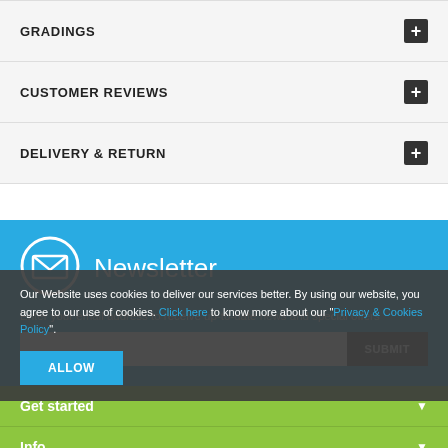GRADINGS
CUSTOMER REVIEWS
DELIVERY & RETURN
Newsletter
Enter your email address to receive up-to-date news and special offers
Get started
Info
Customer Service
Connect with us
Our Website uses cookies to deliver our services better. By using our website, you agree to our use of cookies. Click here to know more about our "Privacy & Cookies Policy".